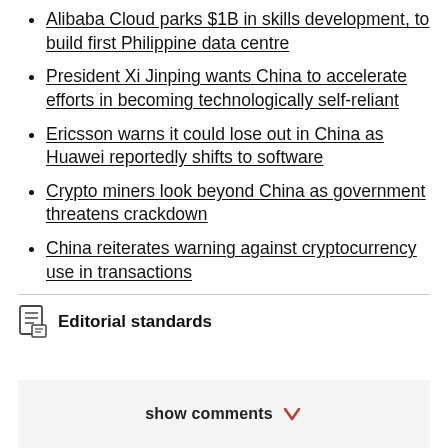Alibaba Cloud parks $1B in skills development, to build first Philippine data centre
President Xi Jinping wants China to accelerate efforts in becoming technologically self-reliant
Ericsson warns it could lose out in China as Huawei reportedly shifts to software
Crypto miners look beyond China as government threatens crackdown
China reiterates warning against cryptocurrency use in transactions
Editorial standards
show comments